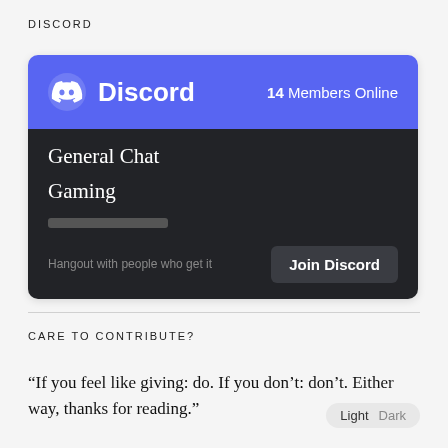DISCORD
[Figure (screenshot): Discord widget card showing the Discord logo, 14 Members Online, channels General Chat and Gaming, a tagline 'Hangout with people who get it', and a 'Join Discord' button. Header is purple (#5865f2), body is dark (#222327).]
CARE TO CONTRIBUTE?
“If you feel like giving: do. If you don't: don't. Either way, thanks for reading.”